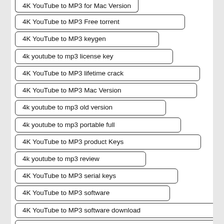4K YouTube to MP3 for Mac Version
4K YouTube to MP3 Free torrent
4K YouTube to MP3 keygen
4k youtube to mp3 license key
4K YouTube to MP3 lifetime crack
4K YouTube to MP3 Mac Version
4k youtube to mp3 old version
4k youtube to mp3 portable full
4K YouTube to MP3 product Keys
4k youtube to mp3 review
4K YouTube to MP3 serial keys
4K YouTube to MP3 software
4K YouTube to MP3 software download
4K YouTube to MP3 window version download